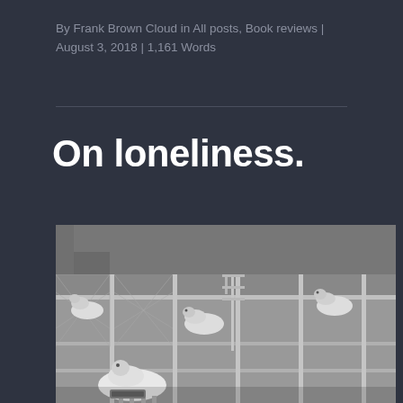By Frank Brown Cloud in All posts, Book reviews | August 3, 2018 | 1,161 Words
On loneliness.
[Figure (photo): Black and white photograph of sheep in separate metal pens/cages with chain-link fencing, viewed from above at an angle. Several sheep are visible in individual enclosures arranged in a grid-like pattern.]